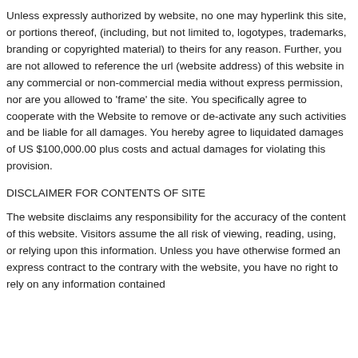Unless expressly authorized by website, no one may hyperlink this site, or portions thereof, (including, but not limited to, logotypes, trademarks, branding or copyrighted material) to theirs for any reason. Further, you are not allowed to reference the url (website address) of this website in any commercial or non-commercial media without express permission, nor are you allowed to 'frame' the site. You specifically agree to cooperate with the Website to remove or de-activate any such activities and be liable for all damages. You hereby agree to liquidated damages of US $100,000.00 plus costs and actual damages for violating this provision.
DISCLAIMER FOR CONTENTS OF SITE
The website disclaims any responsibility for the accuracy of the content of this website. Visitors assume the all risk of viewing, reading, using, or relying upon this information. Unless you have otherwise formed an express contract to the contrary with the website, you have no right to rely on any information contained